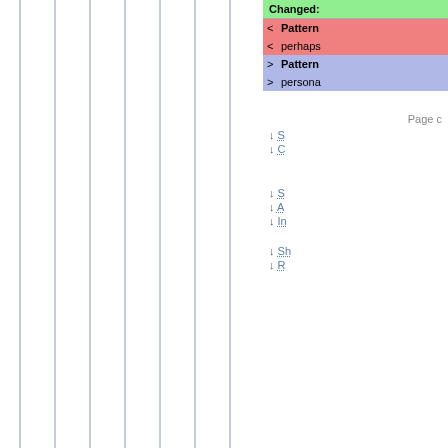[Figure (other): Vertical ruled lines spanning full page height on left portion of page]
Changed:
< Pattern
< perhaps
> Pattern
> persona
Page c
↓ S...
↓ C...
↓ S...
↓ A...
↓ In...
↓ Sh...
↓ R...